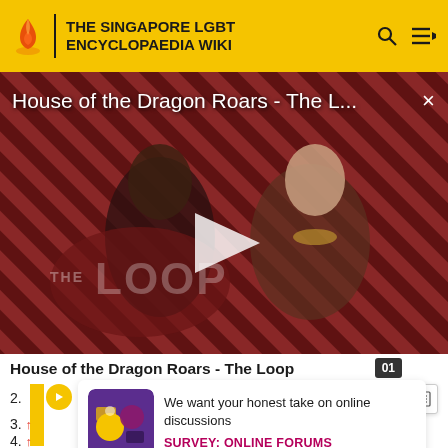THE SINGAPORE LGBT ENCYCLOPAEDIA WIKI
[Figure (screenshot): Video player showing House of the Dragon Roars - The L... with a play button overlay, THE LOOP watermark, and two characters from the show on a diagonal stripe background. Close button (×) top right.]
House of the Dragon Roars - The Loop
2.
3.
4.
[Figure (infographic): Survey card thumbnail: purple/yellow graphic with circles and icons]
We want your honest take on online discussions
SURVEY: ONLINE FORUMS